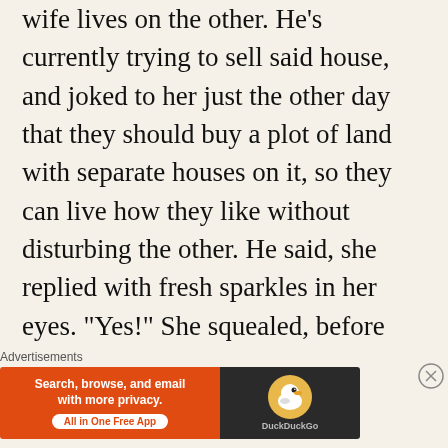wife lives on the other. He’s currently trying to sell said house, and joked to her just the other day that they should buy a plot of land with separate houses on it, so they can live how they like without disturbing the other. He said, she replied with fresh sparkles in her eyes. “Yes!” She squealed, before running off to call her best-friend Theresa.
It’s kinda sad. It almost feels like grieving the other person before they’ve even left or having this weird, break-up happen that’s final as it’s
Advertisements
[Figure (infographic): DuckDuckGo advertisement banner: orange left panel with text 'Search, browse, and email with more privacy. All in One Free App', dark right panel with DuckDuckGo logo duck icon and DuckDuckGo text.]